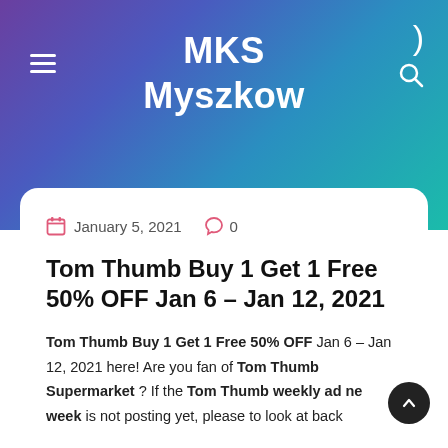MKS Myszkow
January 5, 2021   0
Tom Thumb Buy 1 Get 1 Free 50% OFF Jan 6 – Jan 12, 2021
Tom Thumb Buy 1 Get 1 Free 50% OFF Jan 6 – Jan 12, 2021 here! Are you fan of Tom Thumb Supermarket ? If the Tom Thumb weekly ad next week is not posting yet, please to look at back